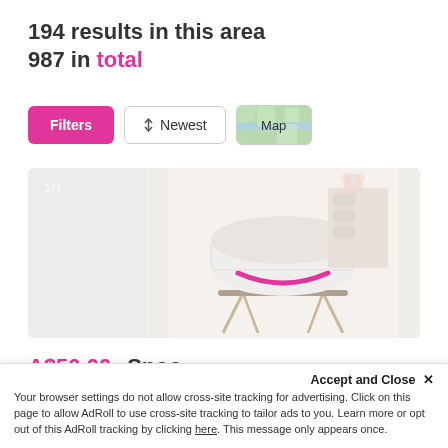194 results in this area
987 in total
[Figure (screenshot): Three UI buttons: pink 'Filters' button, 'Newest' sort button, and a 'Map' button with map thumbnail]
[Figure (photo): Product listing image showing a Snoo smart bassinet on a stand, white with pink accents, photo indicator '1/1' in top left]
A$50.00 per week  Snoo
Hosted by Lauren S.
Lugarno
Accept and Close ✕
Your browser settings do not allow cross-site tracking for advertising. Click on this page to allow AdRoll to use cross-site tracking to tailor ads to you. Learn more or opt out of this AdRoll tracking by clicking here. This message only appears once.